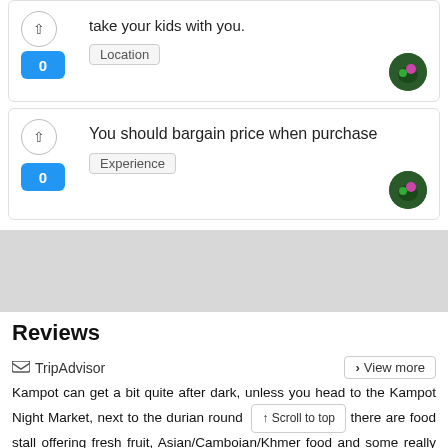take your kids with you.
Location
You should bargain price when purchase
Experience
Reviews
TripAdvisor
View more
Kampot can get a bit quite after dark, unless you head to the Kampot Night Market, next to the durian round there are food stall offering fresh fruit, Asian/Camboian/Khmer food and some really great western food There's plenty to drink and Angkor Draft Beer. Then there are the rides for kids
↑ Scroll to top